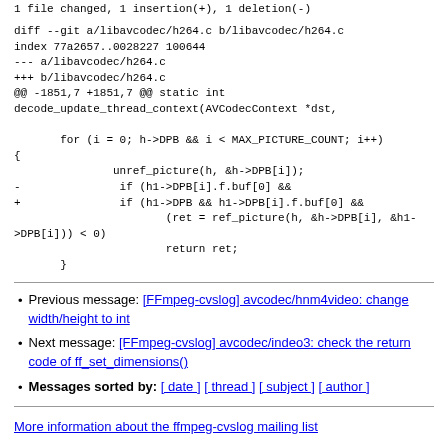1 file changed, 1 insertion(+), 1 deletion(-)
diff --git a/libavcodec/h264.c b/libavcodec/h264.c
index 77a2657..0028227 100644
--- a/libavcodec/h264.c
+++ b/libavcodec/h264.c
@@ -1851,7 +1851,7 @@ static int
decode_update_thread_context(AVCodecContext *dst,

        for (i = 0; h->DPB && i < MAX_PICTURE_COUNT; i++)
{
                unref_picture(h, &h->DPB[i]);
-                if (h1->DPB[i].f.buf[0] &&
+                if (h1->DPB && h1->DPB[i].f.buf[0] &&
                        (ret = ref_picture(h, &h->DPB[i], &h1->DPB[i])) < 0)
                        return ret;
        }
Previous message: [FFmpeg-cvslog] avcodec/hnm4video: change width/height to int
Next message: [FFmpeg-cvslog] avcodec/indeo3: check the return code of ff_set_dimensions()
Messages sorted by: [ date ] [ thread ] [ subject ] [ author ]
More information about the ffmpeg-cvslog mailing list